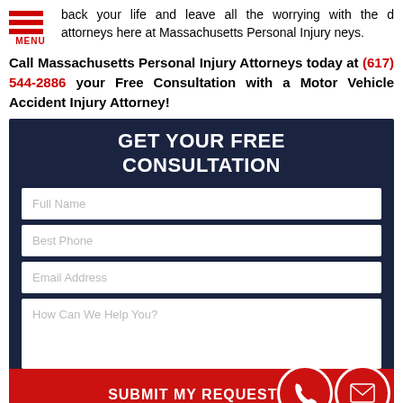back your life and leave all the worrying with the d attorneys here at Massachusetts Personal Injury neys.
Call Massachusetts Personal Injury Attorneys today at (617) 544-2886 your Free Consultation with a Motor Vehicle Accident Injury Attorney!
[Figure (screenshot): Dark navy contact form with title GET YOUR FREE CONSULTATION and fields for Full Name, Best Phone, Email Address, How Can We Help You?, and a red SUBMIT MY REQUEST button with phone and email icons.]